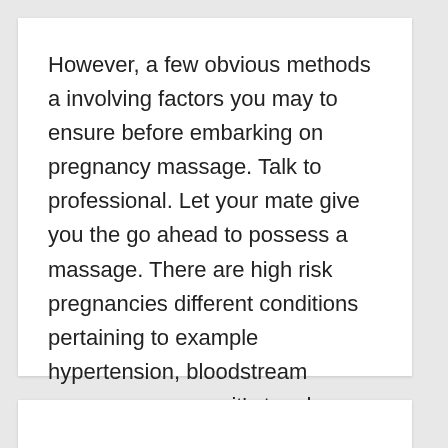However, a few obvious methods a involving factors you may to ensure before embarking on pregnancy massage. Talk to professional. Let your mate give you the go ahead to possess a massage. There are high risk pregnancies different conditions pertaining to example hypertension, bloodstream pressure pressure it's tough history of pre-term pregnancies which can adversely affect a woman's body and lead to complications when the body is not treated delicately. A doctor end up being able to reply your questions and advice you accordingly.